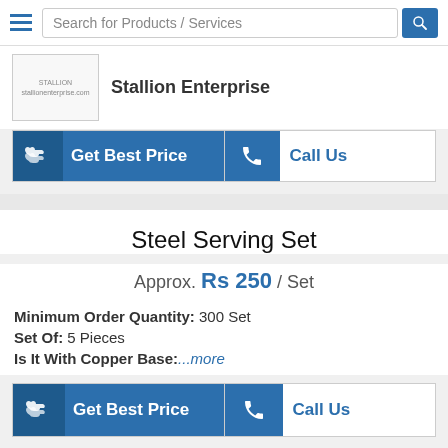Search for Products / Services
Stallion Enterprise
Get Best Price | Call Us
Steel Serving Set
Approx. Rs 250 / Set
Minimum Order Quantity: 300 Set
Set Of: 5 Pieces
Is It With Copper Base:...more
Get Best Price | Call Us
Gold Plated Spoon